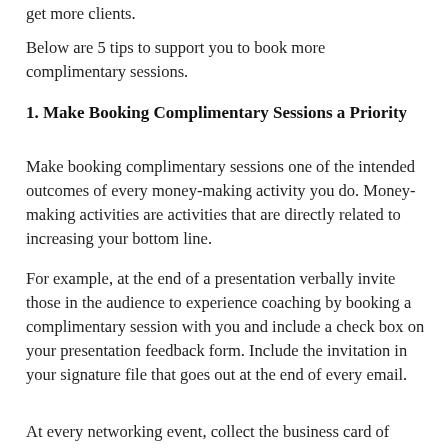get more clients.
Below are 5 tips to support you to book more complimentary sessions.
1. Make Booking Complimentary Sessions a Priority
Make booking complimentary sessions one of the intended outcomes of every money-making activity you do. Money-making activities are activities that are directly related to increasing your bottom line.
For example, at the end of a presentation verbally invite those in the audience to experience coaching by booking a complimentary session with you and include a check box on your presentation feedback form. Include the invitation in your signature file that goes out at the end of every email.
At every networking event, collect the business card of those